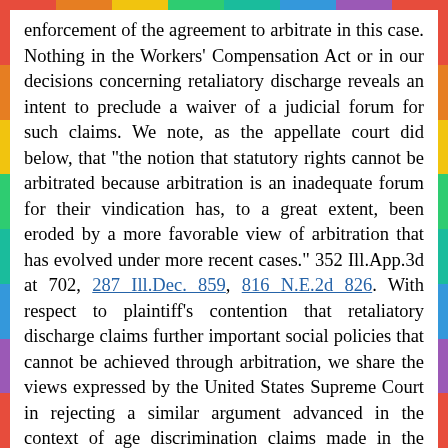enforcement of the agreement to arbitrate in this case. Nothing in the Workers' Compensation Act or in our decisions concerning retaliatory discharge reveals an intent to preclude a waiver of a judicial forum for such claims. We note, as the appellate court did below, that "the notion that statutory rights cannot be arbitrated because arbitration is an inadequate forum for their vindication has, to a great extent, been eroded by a more favorable view of arbitration that has evolved under more recent cases." 352 Ill.App.3d at 702, 287 Ill.Dec. 859, 816 N.E.2d 826. With respect to plaintiff's contention that retaliatory discharge claims further important social policies that cannot be achieved through arbitration, we share the views expressed by the United States Supreme Court in rejecting a similar argument advanced in the context of age discrimination claims made in the workplace:
We do not perceive any inherent